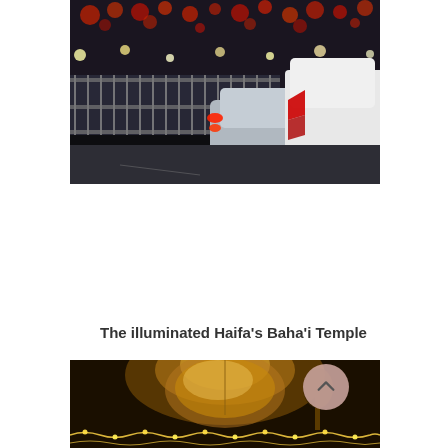[Figure (photo): Night street scene with cars, including a white SUV with 'KODIAQ' badge visible, red tail lights, fence and colorful holiday lights in background]
The illuminated Haifa's Baha'i Temple
[Figure (photo): Night photo of illuminated Haifa Baha'i Temple dome lit up in warm golden light, with decorative lights along the bottom]